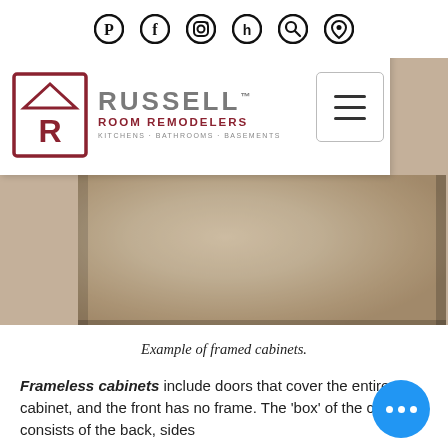[Figure (screenshot): Navigation bar with social media icons: Pinterest, Facebook, Instagram, Houzz, search, and location pin icons]
[Figure (logo): Russell Room Remodelers logo with house icon containing letter R, company name RUSSELL in gray, ROOM REMODELERS in red, KITCHENS · BATHROOMS · BASEMENTS in gray small text]
[Figure (photo): Example photo of framed cabinets showing beige/tan cabinet surface with blurred close-up view]
Example of framed cabinets.
Frameless cabinets include doors that cover the entire cabinet, and the front has no frame. The 'box' of the cabinet consists of the back, sides